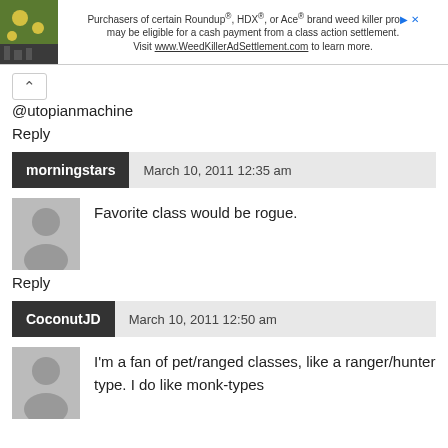[Figure (advertisement): Ad banner for WeedKillerAdSettlement.com with plant image]
@utopianmachine
Reply
morningstars   March 10, 2011 12:35 am
[Figure (illustration): Default user avatar silhouette]
Favorite class would be rogue.
Reply
CoconutJD   March 10, 2011 12:50 am
[Figure (illustration): Default user avatar silhouette]
I'm a fan of pet/ranged classes, like a ranger/hunter type. I do like monk-types